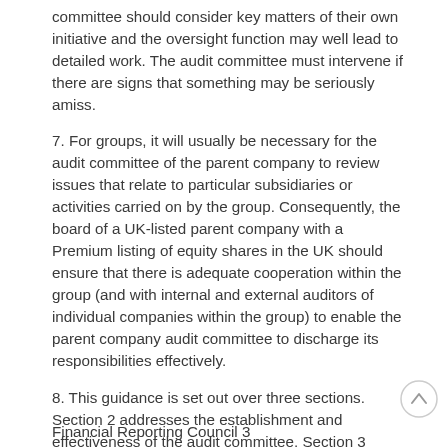committee should consider key matters of their own initiative and the oversight function may well lead to detailed work. The audit committee must intervene if there are signs that something may be seriously amiss.
7. For groups, it will usually be necessary for the audit committee of the parent company to review issues that relate to particular subsidiaries or activities carried on by the group. Consequently, the board of a UK-listed parent company with a Premium listing of equity shares in the UK should ensure that there is adequate cooperation within the group (and with internal and external auditors of individual companies within the group) to enable the parent company audit committee to discharge its responsibilities effectively.
8. This guidance is set out over three sections. Section 2 addresses the establishment and effectiveness of the audit committee. Section 3 summarises the committee's roles and responsibilities and Section 4 provides an overview of communications with shareholders.
Financial Reporting Council 3